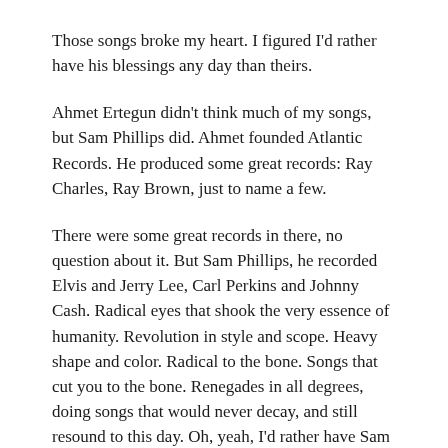Those songs broke my heart. I figured I'd rather have his blessings any day than theirs.
Ahmet Ertegun didn't think much of my songs, but Sam Phillips did. Ahmet founded Atlantic Records. He produced some great records: Ray Charles, Ray Brown, just to name a few.
There were some great records in there, no question about it. But Sam Phillips, he recorded Elvis and Jerry Lee, Carl Perkins and Johnny Cash. Radical eyes that shook the very essence of humanity. Revolution in style and scope. Heavy shape and color. Radical to the bone. Songs that cut you to the bone. Renegades in all degrees, doing songs that would never decay, and still resound to this day. Oh, yeah, I'd rather have Sam Phillips' blessing